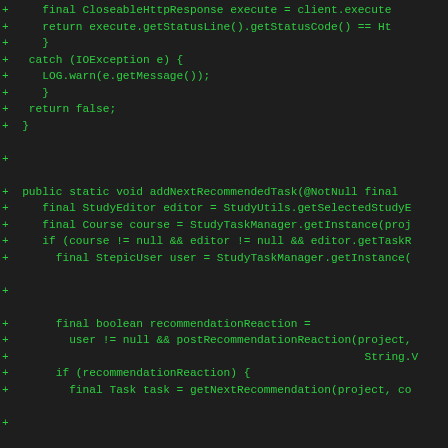[Figure (screenshot): Code diff view showing Java source code with green '+' markers indicating added lines. The code shows methods including addNextRecommendedTask with various Java statements involving StudyEditor, Course, StepicUser, boolean recommendationReaction, Task, Lesson, and Map operations.]